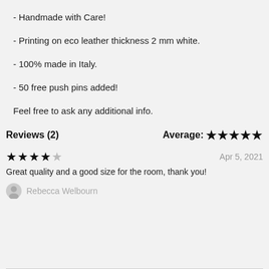- Handmade with Care!
- Printing on eco leather thickness 2 mm white.
- 100% made in Italy.
- 50 free push pins added!
Feel free to ask any additional info.
Reviews (2)
Average: ★★★★★
★★★★☆  Apr 5, 2021
Great quality and a good size for the room, thank you!
Rebecca Welbourn